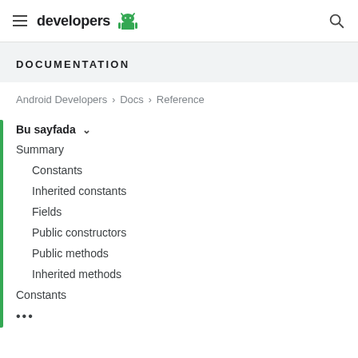developers [android logo]
DOCUMENTATION
Android Developers > Docs > Reference
Bu sayfada ∨
Summary
Constants
Inherited constants
Fields
Public constructors
Public methods
Inherited methods
Constants
•••